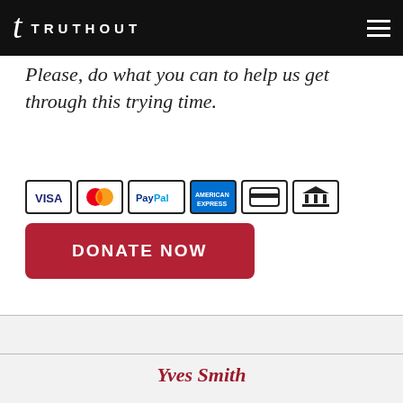TRUTHOUT
Please, do what you can to help us get through this trying time.
[Figure (other): Payment method icons: Visa, Mastercard, PayPal, American Express, credit card, bank transfer]
DONATE NOW
Yves Smith